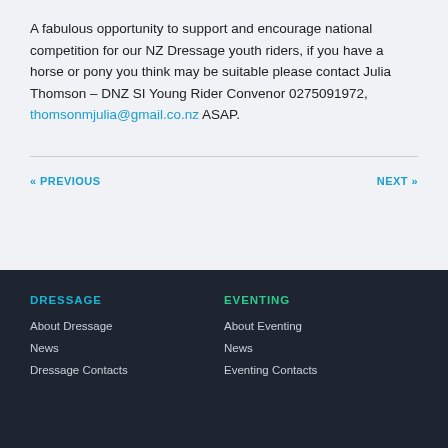A fabulous opportunity to support and encourage national competition for our NZ Dressage youth riders, if you have a horse or pony you think may be suitable please contact Julia Thomson – DNZ SI Young Rider Convenor 0275091972, thomsonmjulia@gmail.co.nz ASAP.
« PREVIOUS
NEXT »
DRESSAGE
About Dressage
News
Dressage Contacts
EVENTING
About Eventing
News
Eventing Contacts